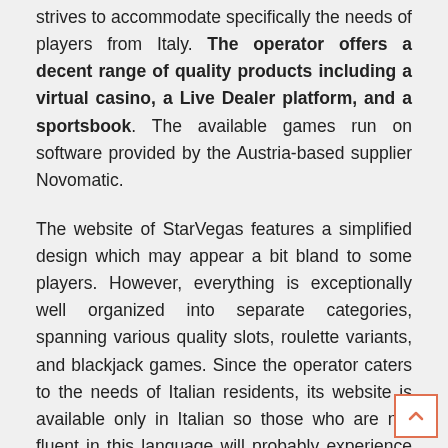strives to accommodate specifically the needs of players from Italy. The operator offers a decent range of quality products including a virtual casino, a Live Dealer platform, and a sportsbook. The available games run on software provided by the Austria-based supplier Novomatic.
The website of StarVegas features a simplified design which may appear a bit bland to some players. However, everything is exceptionally well organized into separate categories, spanning various quality slots, roulette variants, and blackjack games. Since the operator caters to the needs of Italian residents, its website is available only in Italian so those who are not fluent in this language will probably experience difficulties with navigation and account management. Players from other European jurisdictions are recommended to join the sister websi...